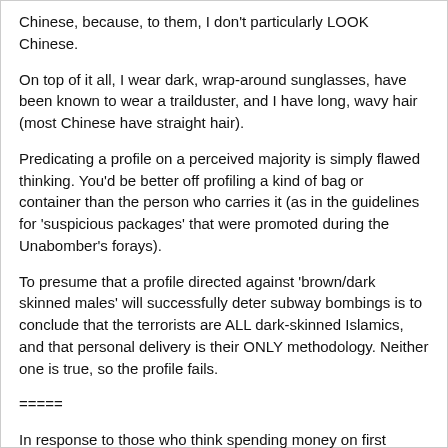Chinese, because, to them, I don't particularly LOOK Chinese.
On top of it all, I wear dark, wrap-around sunglasses, have been known to wear a trailduster, and I have long, wavy hair (most Chinese have straight hair).
Predicating a profile on a perceived majority is simply flawed thinking. You'd be better off profiling a kind of bag or container than the person who carries it (as in the guidelines for 'suspicious packages' that were promoted during the Unabomber's forays).
To presume that a profile directed against 'brown/dark skinned males' will successfully deter subway bombings is to conclude that the terrorists are ALL dark-skinned Islamics, and that personal delivery is their ONLY methodology. Neither one is true, so the profile fails.
=====
In response to those who think spending money on first responders is a waste … bear in mind those first responders are not just paramedics/rescue personnel, but the bomb